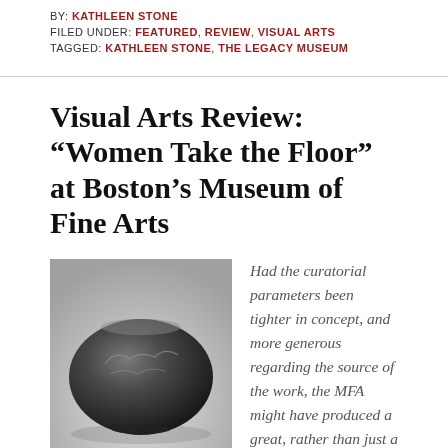BY: KATHLEEN STONE
FILED UNDER: FEATURED, REVIEW, VISUAL ARTS
TAGGED: KATHLEEN STONE, THE LEGACY MUSEUM
Visual Arts Review: “Women Take the Floor” at Boston’s Museum of Fine Arts
[Figure (photo): Black and white photograph of a round ceramic bowl/pot with decorative etched animal figures on a light gray gradient background]
Had the curatorial parameters been tighter in concept, and more generous regarding the source of the work, the MFA might have produced a great, rather than just a good, exhibit. .